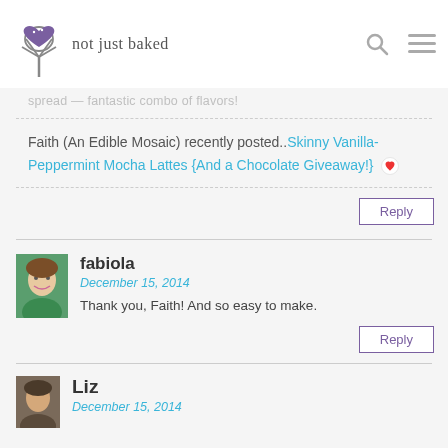not just baked
spread — fantastic combo of flavors!
Faith (An Edible Mosaic) recently posted..Skinny Vanilla-Peppermint Mocha Lattes {And a Chocolate Giveaway!}
Reply
fabiola
December 15, 2014
Thank you, Faith! And so easy to make.
Reply
Liz
December 15, 2014